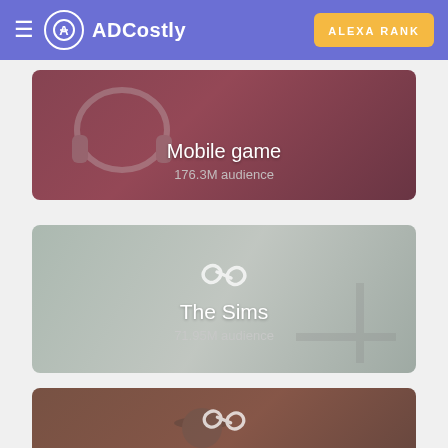ADCostly | ALEXA RANK
[Figure (photo): Card with dark red/maroon background showing headphones, titled Mobile game with 176.3M audience]
Mobile game
176.3M audience
[Figure (photo): Card with grey background showing office/desk scene with chain link icon, titled The Sims with 71.95M audience]
The Sims
71.95M audience
[Figure (photo): Card with brown background showing person with dark hat and chain link icon, titled Natural product]
Natural product